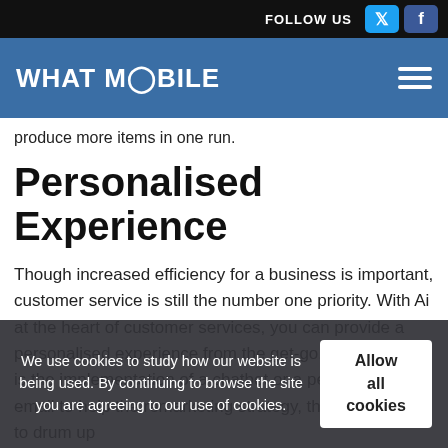FOLLOW US
WHAT MOBILE
produce more items in one run.
Personalised Experience
Though increased efficiency for a business is important, customer service is still the number one priority. With Ai at the heart of customer services, you can provide a personalised experience from the get-go. Whether this is the implementation of a chatbot or a personalised email to help the remarketing strategy, this can all help to drum up
We use cookies to study how our website is being used. By continuing to browse the site you are agreeing to our use of cookies.